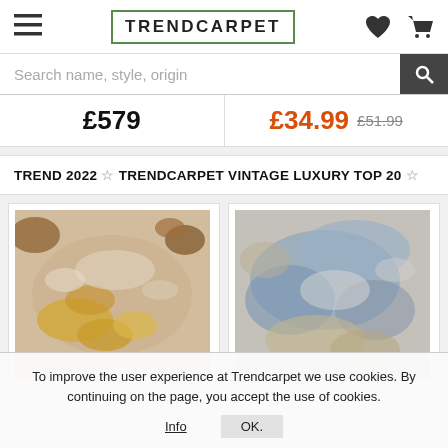TRENDCARPET
Search name, style, origin
£579   £34.99  £51.99
TREND 2022 ☆ TRENDCARPET VINTAGE LUXURY TOP 20 ☆
[Figure (photo): Vintage luxury carpet with golden and beige floral pattern on light background]
[Figure (photo): Vintage luxury carpet with blue, grey and beige pastel abstract pattern]
To improve the user experience at Trendcarpet we use cookies. By continuing on the page, you accept the use of cookies.
Info   OK.